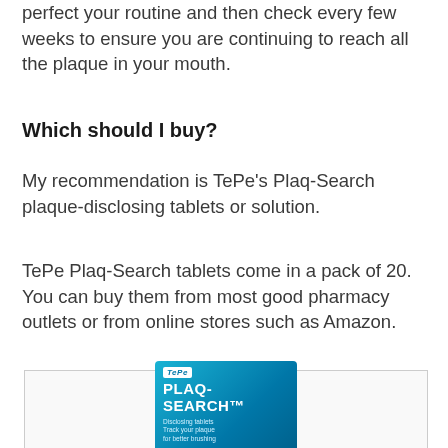You might want to use every few days until you perfect your routine and then check every few weeks to ensure you are continuing to reach all the plaque in your mouth.
Which should I buy?
My recommendation is TePe’s Plaq-Search plaque-disclosing tablets or solution.
TePe Plaq-Search tablets come in a pack of 20. You can buy them from most good pharmacy outlets or from online stores such as Amazon.
[Figure (photo): TePe Plaq-Search product advertisement showing the product box with logo and text 'Disclosing tablets, Track your plaque for better brushing']